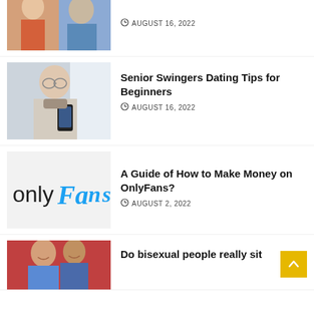[Figure (photo): Partial view of two people looking at something together, cropped at top]
AUGUST 16, 2022
[Figure (photo): Elderly man looking at a smartphone]
Senior Swingers Dating Tips for Beginners
AUGUST 16, 2022
[Figure (logo): OnlyFans logo on light grey background]
A Guide of How to Make Money on OnlyFans?
AUGUST 2, 2022
[Figure (photo): Two young men laughing on a red background]
Do bisexual people really sit